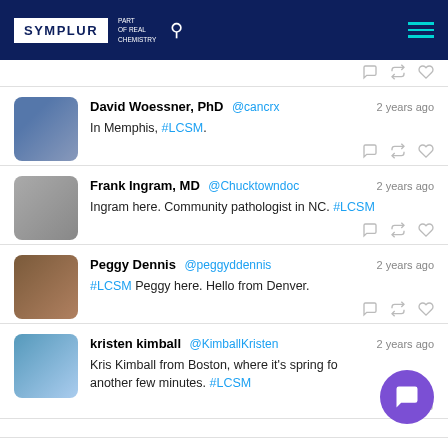SYMPLUR — PART OF REAL CHEMISTRY
David Woessner, PhD @cancrx — 2 years ago
In Memphis, #LCSM.
Frank Ingram, MD @Chucktowndoc — 2 years ago
Ingram here. Community pathologist in NC. #LCSM
Peggy Dennis @peggyddennis — 2 years ago
#LCSM Peggy here. Hello from Denver.
kristen kimball @KimballKristen — 2 years ago
Kris Kimball from Boston, where it's spring for another few minutes. #LCSM